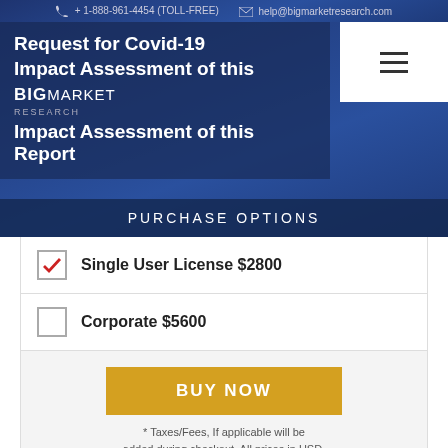+ 1-888-961-4454 (TOLL-FREE)  help@bigmarketresearch.com
Request for Covid-19 Impact Assessment of this Report
PURCHASE OPTIONS
Single User License $2800
Corporate $5600
BUY NOW
* Taxes/Fees, If applicable will be added during checkout. All prices in USD.
NEED MORE INFORMATION
CONTACT US
+ 1-888-961-4454
DROP US AN EMAIL AT